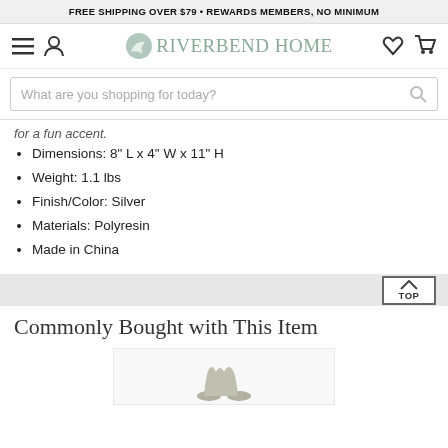FREE SHIPPING OVER $79 • REWARDS MEMBERS, NO MINIMUM
[Figure (logo): Riverbend Home logo with navigation icons (hamburger menu, user icon, heart, cart)]
What are you shopping for today?
for a fun accent.
Dimensions: 8" L x 4" W x 11" H
Weight: 1.1 lbs
Finish/Color: Silver
Materials: Polyresin
Made in China
Commonly Bought with This Item
[Figure (photo): Partial product image at bottom of page]